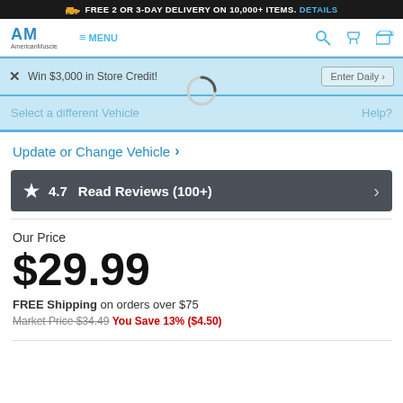FREE 2 OR 3-DAY DELIVERY ON 10,000+ ITEMS. DETAILS
[Figure (logo): AmericanMuscle logo with stylized AM letters]
Win $3,000 in Store Credit!  Enter Daily
Select a different Vehicle  Help?
Update or Change Vehicle ▶
★ 4.7  Read Reviews (100+)  ›
Our Price
$29.99
FREE Shipping on orders over $75
Market Price $34.49  You Save 13% ($4.50)